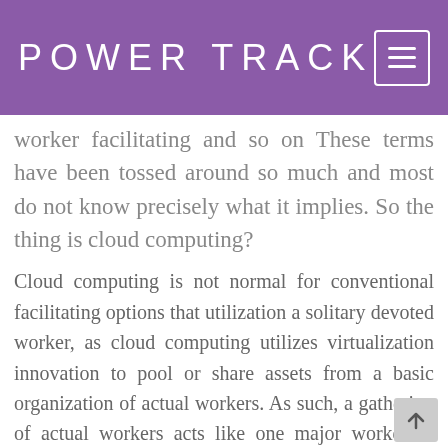POWER TRACK
worker facilitating and so on These terms have been tossed around so much and most do not know precisely what it implies. So the thing is cloud computing?
Cloud computing is not normal for conventional facilitating options that utilization a solitary devoted worker, as cloud computing utilizes virtualization innovation to pool or share assets from a basic organization of actual workers. As such, a gathering of actual workers acts like one major worker to present to you the assets that you need on request. Cloud computing conveys shared computing assets, data or programming through the Internet; which is the most well-known method of getting to the cloud. Be that